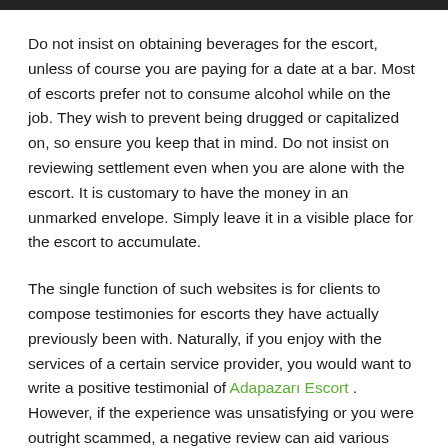Do not insist on obtaining beverages for the escort, unless of course you are paying for a date at a bar. Most of escorts prefer not to consume alcohol while on the job. They wish to prevent being drugged or capitalized on, so ensure you keep that in mind. Do not insist on reviewing settlement even when you are alone with the escort. It is customary to have the money in an unmarked envelope. Simply leave it in a visible place for the escort to accumulate.
The single function of such websites is for clients to compose testimonies for escorts they have actually previously been with. Naturally, if you enjoy with the services of a certain service provider, you would want to write a positive testimonial of Adapazarı Escort . However, if the experience was unsatisfying or you were outright scammed, a negative review can aid various other potential clients run away the